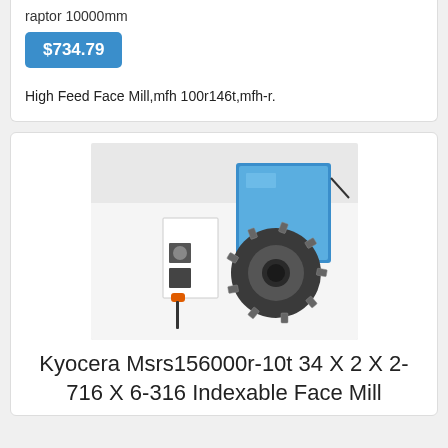raptor 10000mm
$734.79
High Feed Face Mill,mfh 100r146t,mfh-r.
[Figure (photo): A Kyocera indexable face mill tool shown next to its blue product box, instruction sheet, and an orange T-handle hex wrench on a white surface.]
Kyocera Msrs156000r-10t 34 X 2 X 2-716 X 6-316 Indexable Face Mill